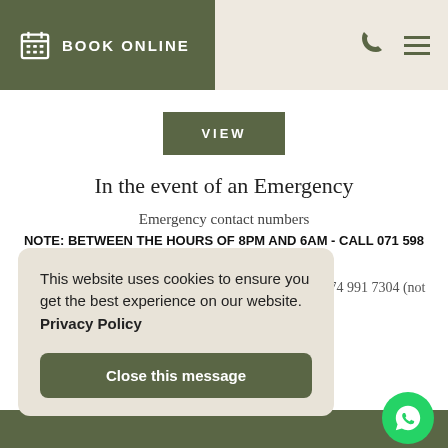BOOK ONLINE
VIEW
In the event of an Emergency
Emergency contact numbers
NOTE: BETWEEN THE HOURS OF 8PM AND 6AM - CALL 071 598 3346
Sabie Self Catering Apartments: 074 991 7304 / (+27) 74 991 7304 (not available between 8pm and 6am)
This website uses cookies to ensure you get the best experience on our website. Privacy Policy
Close this message